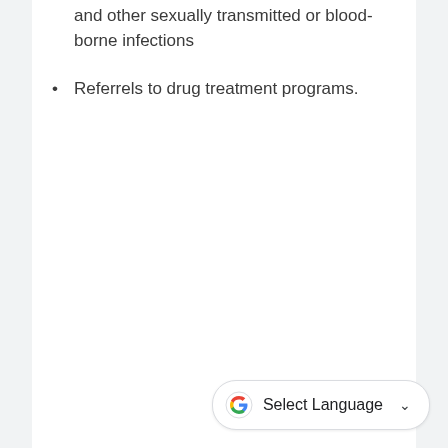and other sexually transmitted or blood-borne infections
Referrels to drug treatment programs.